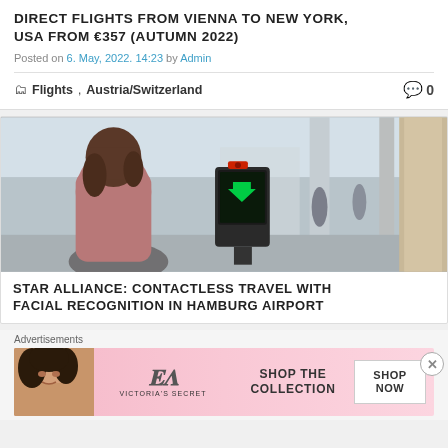DIRECT FLIGHTS FROM VIENNA TO NEW YORK, USA FROM €357 (AUTUMN 2022)
Posted on 6. May, 2022. 14:23 by Admin
🗂 Flights , Austria/Switzerland    💬 0
[Figure (photo): Woman with backpack standing at an airport biometric/facial recognition kiosk gate, seen from behind. Airport terminal interior visible in background.]
STAR ALLIANCE: CONTACTLESS TRAVEL WITH FACIAL RECOGNITION IN HAMBURG AIRPORT
Advertisements
[Figure (photo): Victoria's Secret advertisement banner: woman's face on left, VS logo in center, 'SHOP THE COLLECTION' text, 'SHOP NOW' button on right, pink background.]